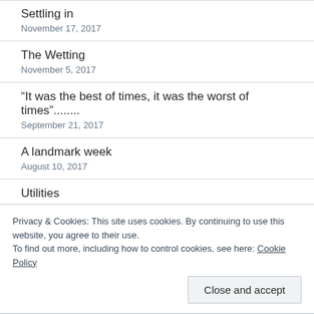Settling in
November 17, 2017
The Wetting
November 5, 2017
“It was the best of times, it was the worst of times”........
September 21, 2017
A landmark week
August 10, 2017
Utilities
August 10, 2017
Privacy & Cookies: This site uses cookies. By continuing to use this website, you agree to their use.
To find out more, including how to control cookies, see here: Cookie Policy